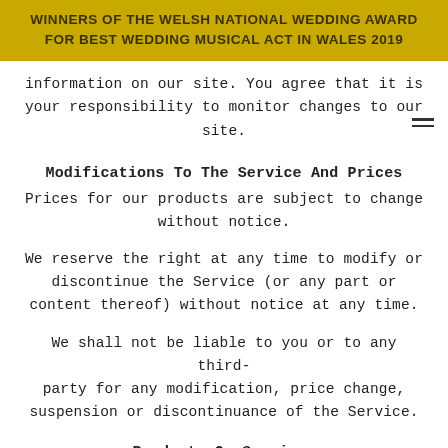WINNERS OF THE WELSH NATIONAL WEDDING AWARD FOR BEST WEDDING MUSICAL ACT IN WALES 2019
information on our site. You agree that it is your responsibility to monitor changes to our site.
Modifications To The Service And Prices
Prices for our products are subject to change without notice.
We reserve the right at any time to modify or discontinue the Service (or any part or content thereof) without notice at any time.
We shall not be liable to you or to any third-party for any modification, price change, suspension or discontinuance of the Service.
Products Or Services
Certain products or services may be available